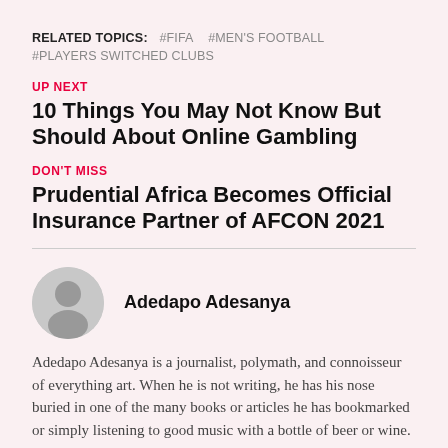RELATED TOPICS:  #FIFA  #MEN'S FOOTBALL  #PLAYERS SWITCHED CLUBS
UP NEXT
10 Things You May Not Know But Should About Online Gambling
DON'T MISS
Prudential Africa Becomes Official Insurance Partner of AFCON 2021
Adedapo Adesanya
Adedapo Adesanya is a journalist, polymath, and connoisseur of everything art. When he is not writing, he has his nose buried in one of the many books or articles he has bookmarked or simply listening to good music with a bottle of beer or wine. He supports the greatest club in the world, Manchester United F.C.